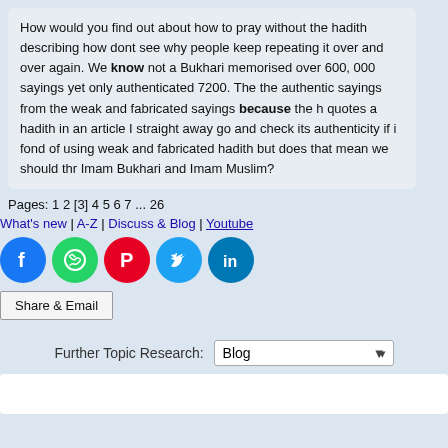How would you find out about how to pray without the hadith describing how... dont see why people keep repeating it over and over again. We know not a... Bukhari memorised over 600, 000 sayings yet only authenticated 7200. The... the authentic sayings from the weak and fabricated sayings because the h... quotes a hadith in an article I straight away go and check its authenticity if i... fond of using weak and fabricated hadith but does that mean we should thr... Imam Bukhari and Imam Muslim?
Pages: 1 2 [3] 4 5 6 7 ... 26
What's new | A-Z | Discuss & Blog | Youtube
[Figure (other): Social media sharing icons: Facebook, WhatsApp, Pinterest, Twitter, LinkedIn]
Share & Email
Further Topic Research: Blog